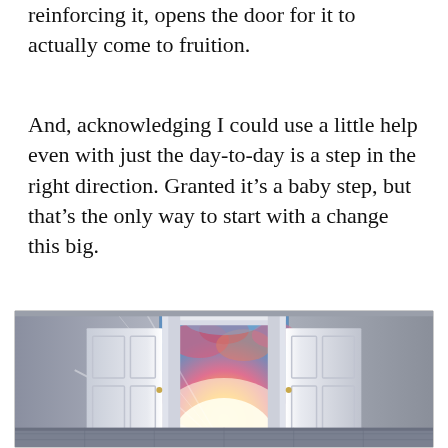reinforcing it, opens the door for it to actually come to fruition.
And, acknowledging I could use a little help even with just the day-to-day is a step in the right direction. Granted it’s a baby step, but that’s the only way to start with a change this big.
[Figure (photo): A dramatic photo of large white double doors flung open, with bright golden and orange light and colorful cloudy sky visible through the opening, set inside a grey room with ornate door frame and columns.]